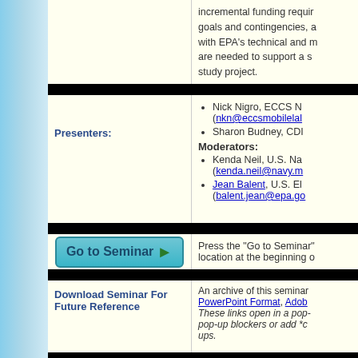incremental funding requirements, goals and contingencies, and alignment with EPA's technical and mission needs are needed to support a site study project.
Nick Nigro, ECCS N (nkn@eccsmobilelab...) • Sharon Budney, CD...
Moderators:
Kenda Neil, U.S. Na (kenda.neil@navy.m...)
Jean Balent, U.S. EP (balent.jean@epa.go...)
Press the "Go to Seminar" button... location at the beginning o...
An archive of this seminar... PowerPoint Format, Adob... These links open in a pop-... pop-up blockers or add *c... ups.
After the seminar is compl...